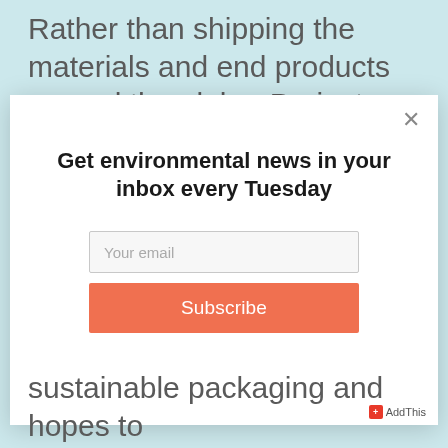Rather than shipping the materials and end products around the globe, Project Repat products are made and shipped from factories in Austin, Texas.
Get environmental news in your inbox every Tuesday
Your email
Subscribe
sustainable packaging and hopes to